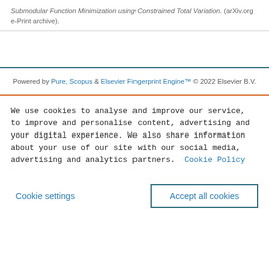Submodular Function Minimization using Constrained Total Variation. (arXiv.org e-Print archive).
Powered by Pure, Scopus & Elsevier Fingerprint Engine™ © 2022 Elsevier B.V.
We use cookies to analyse and improve our service, to improve and personalise content, advertising and your digital experience. We also share information about your use of our site with our social media, advertising and analytics partners.  Cookie Policy
Cookie settings
Accept all cookies